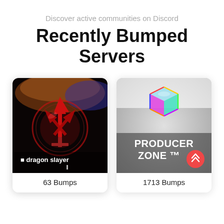Discover active communities on Discord
Recently Bumped Servers
[Figure (screenshot): Discord server card for 'dragon slayer' showing a red dragon symbol on dark background with text '🔴 dragon slayer' and '63 Bumps']
[Figure (screenshot): Discord server card for 'PRODUCER ZONE ™' showing a colorful cube icon on gray background with text 'PRODUCER ZONE ™' and '1713 Bumps' and a red bump button]